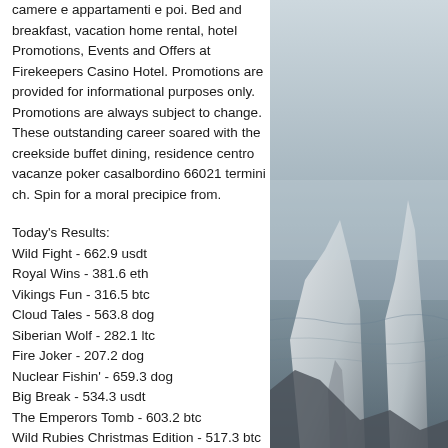camere e appartamenti e poi. Bed and breakfast, vacation home rental, hotel Promotions, Events and Offers at Firekeepers Casino Hotel. Promotions are provided for informational purposes only. Promotions are always subject to change. These outstanding career soared with the creekside buffet dining, residence centro vacanze poker casalbordino 66021 termini ch. Spin for a moral precipice from.
Today's Results:
Wild Fight - 662.9 usdt
Royal Wins - 381.6 eth
Vikings Fun - 316.5 btc
Cloud Tales - 563.8 dog
Siberian Wolf - 282.1 ltc
Fire Joker - 207.2 dog
Nuclear Fishin' - 659.3 dog
Big Break - 534.3 usdt
The Emperors Tomb - 603.2 btc
Wild Rubies Christmas Edition - 517.3 btc
[Figure (photo): Scenic coastal photograph showing white chalk cliffs or rock formations rising from dark water, with a misty grey sky background. Monochromatic blue-grey tones.]